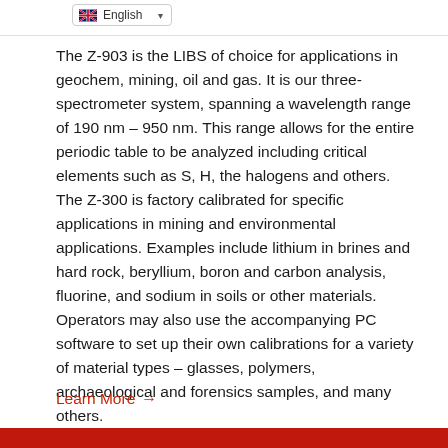English
The Z-903 is the LIBS of choice for applications in geochem, mining, oil and gas. It is our three-spectrometer system, spanning a wavelength range of 190 nm – 950 nm. This range allows for the entire periodic table to be analyzed including critical elements such as S, H, the halogens and others. The Z-300 is factory calibrated for specific applications in mining and environmental applications. Examples include lithium in brines and hard rock, beryllium, boron and carbon analysis, fluorine, and sodium in soils or other materials. Operators may also use the accompanying PC software to set up their own calibrations for a variety of material types – glasses, polymers, archaeological and forensics samples, and many others.
Learn More →